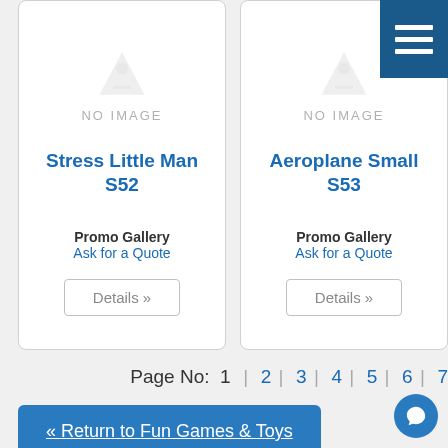[Figure (screenshot): Navigation hamburger menu button, dark blue, top right corner]
[Figure (illustration): Product card: Stress Little Man S52, no image placeholder, Promo Gallery, Ask for a Quote, Details button]
[Figure (illustration): Product card: Aeroplane Small S53, no image placeholder, Promo Gallery, Ask for a Quote, Details button]
Page No:  1  |  2  |  3  |  4  |  5  |  6  |  7
« Return to Fun Games & Toys